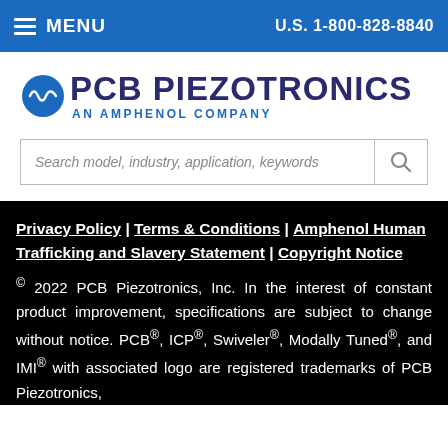MENU   U.S. 1-800-828-8840
[Figure (logo): PCB Piezotronics logo with circular waveform icon and text 'PCB PIEZOTRONICS AN AMPHENOL COMPANY']
Search model, industry, application, keywords
Privacy Policy | Terms & Conditions | Amphenol Human Trafficking and Slavery Statement | Copyright Notice © 2022 PCB Piezotronics, Inc. In the interest of constant product improvement, specifications are subject to change without notice. PCB®, ICP®, Swiveler®, Modally Tuned®, and IMI® with associated logo are registered trademarks of PCB Piezotronics,